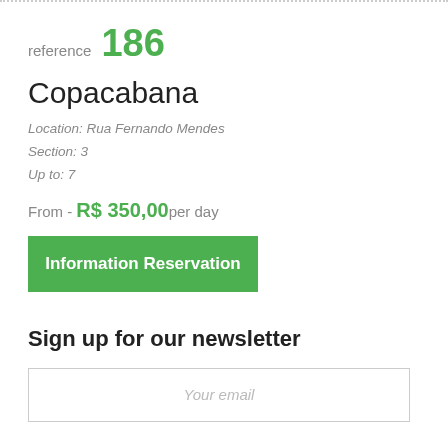reference 186
Copacabana
Location: Rua Fernando Mendes
Section: 3
Up to: 7
From - R$ 350,00 per day
Information Reservation
Sign up for our newsletter
Your email